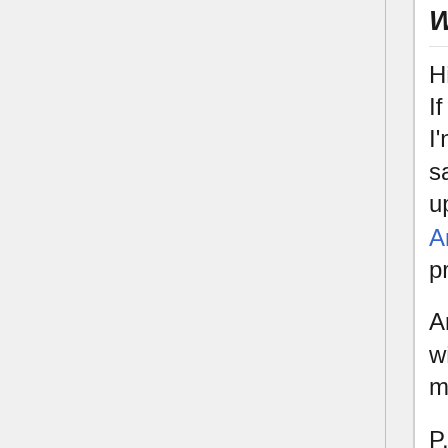What I'm Currently Doing
Hi Bzc6p, it's been a little bit since I last talked to you. If you want to know what I'm currently doing, it's that I'm searching the depths of the Internet for links and saving them on to the Wayback Machine. I'm also uploading my own collections to the Internet Archive. There's some stuff in there which you'll probably enjoy. :)
And the icing on the cake is that I'm editing a few wikis, cleaning them up and trying to make them more informative.
P.S. Do you forgive me and understand why I went into a very mad rage here those few times (which I shouldn't have)? I know the experience is over, but I feel embarrassed around you, given my